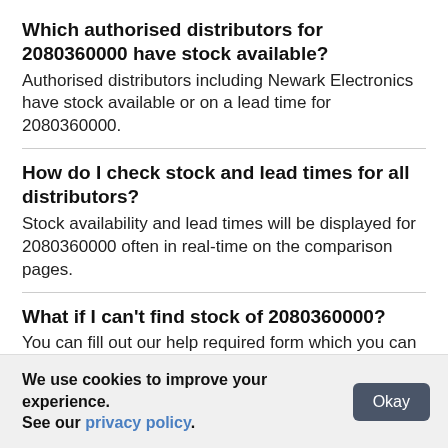Which authorised distributors for 2080360000 have stock available?
Authorised distributors including Newark Electronics have stock available or on a lead time for 2080360000.
How do I check stock and lead times for all distributors?
Stock availability and lead times will be displayed for 2080360000 often in real-time on the comparison pages.
What if I can't find stock of 2080360000?
You can fill out our help required form which you can use to request a quote for 2080360000 from some of
We use cookies to improve your experience. See our privacy policy.